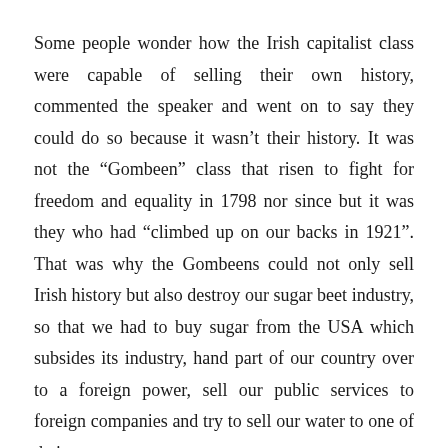Some people wonder how the Irish capitalist class were capable of selling their own history, commented the speaker and went on to say they could do so because it wasn't their history. It was not the “Gombeen” class that risen to fight for freedom and equality in 1798 nor since but it was they who had “climbed up on our backs in 1921”. That was why the Gombeens could not only sell Irish history but also destroy our sugar beet industry, so that we had to buy sugar from the USA which subsides its industry, hand part of our country over to a foreign power, sell our public services to foreign companies and try to sell our water to one of their own.
Just as there was no way forward to build an Ireland of equality but revolution in 1798, Breatnach concluded, there